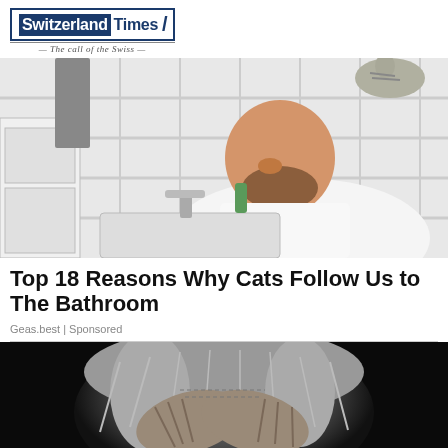Switzerland Times — The call of the Swiss
[Figure (photo): Man in white shirt smiling at bathroom sink with a cat on his shoulder, white tiled bathroom background]
Top 18 Reasons Why Cats Follow Us to The Bathroom
Geas.best | Sponsored
[Figure (photo): Black and white close-up photo of an elderly person with hands covering their face, head bowed down]